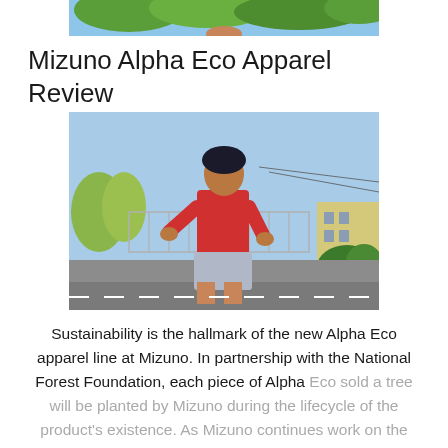[Figure (photo): Partial top image showing greenery and a person's hand/arm at the very top of the page]
Mizuno Alpha Eco Apparel Review
[Figure (photo): A person wearing a red t-shirt and gray shorts standing outdoors on a street, looking down at something in their hands. Background shows trees, a gate, buildings, and a blue sky.]
Sustainability is the hallmark of the new Alpha Eco apparel line at Mizuno. In partnership with the National Forest Foundation, each piece of Alpha Eco sold a tree will be planted by Mizuno during the lifecycle of the product's existence. As Mizuno continues work on the Alpha Eco line the plan to...